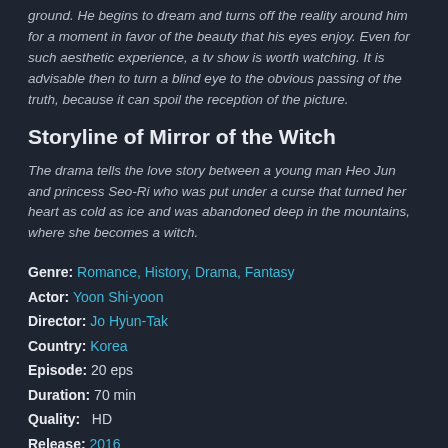ground. He begins to dream and turns off the reality around him for a moment in favor of the beauty that his eyes enjoy. Even for such aesthetic experience, a tv show is worth watching. It is advisable then to turn a blind eye to the obvious passing of the truth, because it can spoil the reception of the picture.
Storyline of Mirror of the Witch
The drama tells the love story between a young man Heo Jun and princess Seo-Ri who was put under a curse that turned her heart as cold as ice and was abandoned deep in the mountains, where she becomes a witch.
Genre: Romance, History, Drama, Fantasy
Actor: Yoon Shi-yoon
Director: Jo Hyun-Tak
Country: Korea
Episode: 20 eps
Duration: 70 min
Quality: HD
Release: 2016
IMDb: 7
Keywords: #Mirror of the Witch  #Yoon Shi-yoon  #Jo Hyun-Tak